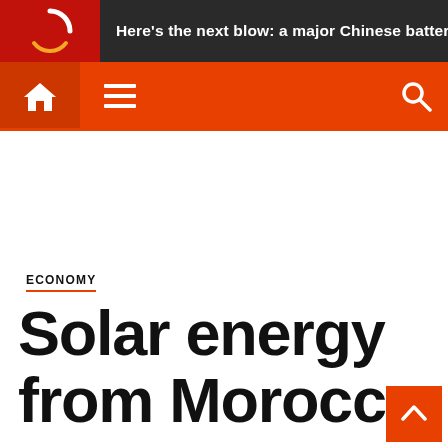Here's the next blow: a major Chinese battery fa
[Figure (logo): Circular orange and red logo with arc/spinner graphic]
[Figure (infographic): Navigation bar with home icon, hamburger menu icon, and search icon on orange background]
ECONOMY
Solar energy from Morocco